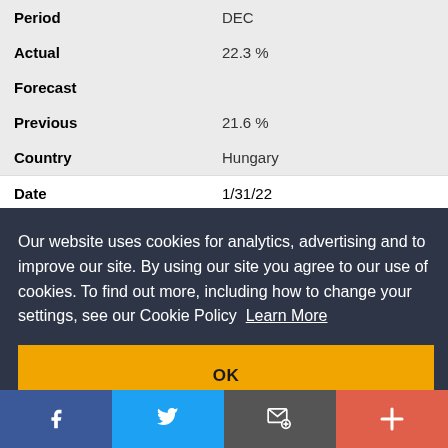| Period | DEC |
| Actual | 22.3 % |
| Forecast |  |
| Previous | 21.6 % |
| Country | Hungary |
| Date | 1/31/22 |
| Time | 09:00 AM |
Our website uses cookies for analytics, advertising and to improve our site. By using our site you agree to our use of cookies. To find out more, including how to change your settings, see our Cookie Policy  Learn More
OK
[Figure (other): Social sharing bar with Facebook, Twitter, email, and plus buttons]